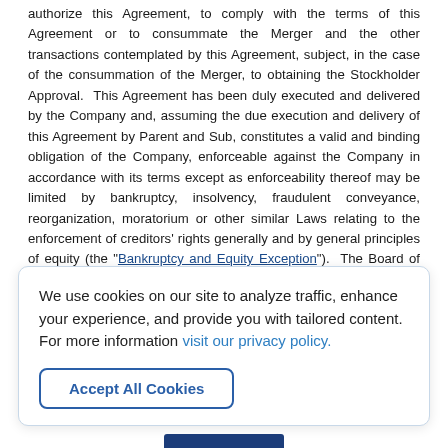authorize this Agreement, to comply with the terms of this Agreement or to consummate the Merger and the other transactions contemplated by this Agreement, subject, in the case of the consummation of the Merger, to obtaining the Stockholder Approval. This Agreement has been duly executed and delivered by the Company and, assuming the due execution and delivery of this Agreement by Parent and Sub, constitutes a valid and binding obligation of the Company, enforceable against the Company in accordance with its terms except as enforceability thereof may be limited by bankruptcy, insolvency, fraudulent conveyance, reorganization, moratorium or other similar Laws relating to the enforcement of creditors' rights generally and by general principles of equity (the "Bankruptcy and Equity Exception"). The Board of Directors of the Company, at a meeting duly called and held at which all of the directors of the Company were present, duly adopted resolutions (i) approving and declaring advisable this Agreement, the Merger and the other
We use cookies on our site to analyze traffic, enhance your experience, and provide you with tailored content.
For more information visit our privacy policy.
Accept All Cookies